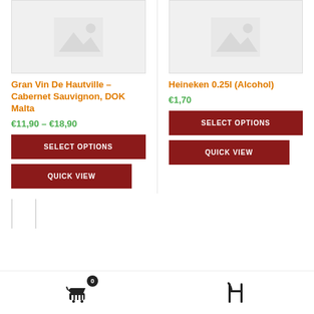[Figure (illustration): Placeholder product image (grey box with mountain/image icon) for Gran Vin De Hautville]
[Figure (illustration): Placeholder product image (grey box with mountain/image icon) for Heineken 0.25l]
Gran Vin De Hautville – Cabernet Sauvignon, DOK Malta
€11,90 – €18,90
SELECT OPTIONS
QUICK VIEW
Heineken 0.25l (Alcohol)
€1,70
SELECT OPTIONS
QUICK VIEW
[Figure (illustration): Bottom card placeholder left]
[Figure (illustration): Bottom card placeholder right]
[Figure (illustration): Cart icon with badge 0]
[Figure (illustration): Restaurant/cutlery icon]